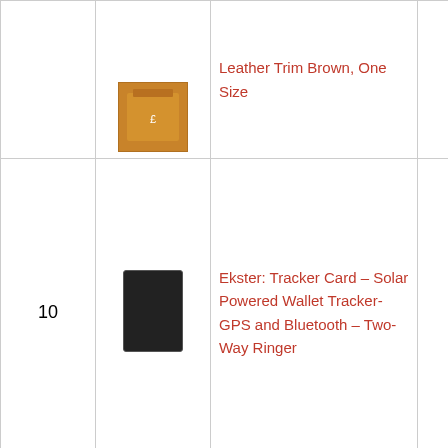| # | Image | Product | Price | Buy |
| --- | --- | --- | --- | --- |
|  |  | Leather Trim Brown, One Size |  | Buy on Amazon |
| 10 |  | Ekster: Tracker Card – Solar Powered Wallet Tracker-GPS and Bluetooth – Two-Way Ringer | $49.00 | Buy on Amazon |